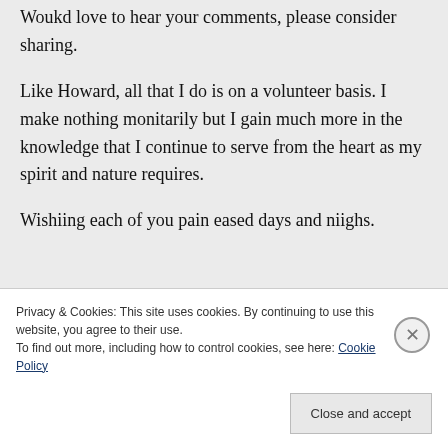Woukd love to hear your comments, please consider sharing.

Like Howard, all that I do is on a volunteer basis. I make nothing monitarily but I gain much more in the knowledge that I continue to serve from the heart as my spirit and nature requires.

Wishiing each of you pain eased days and niighs.
Privacy & Cookies: This site uses cookies. By continuing to use this website, you agree to their use.
To find out more, including how to control cookies, see here: Cookie Policy